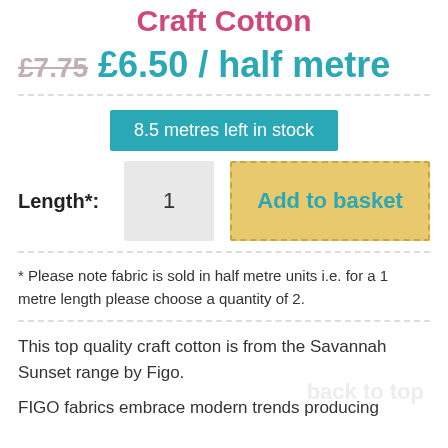Craft Cotton
£7.75  £6.50 / half metre
8.5 metres left in stock
Length*:  1  Add to basket
* Please note fabric is sold in half metre units i.e. for a 1 metre length please choose a quantity of 2.
This top quality craft cotton is from the Savannah Sunset range by Figo.
FIGO fabrics embrace modern trends producing